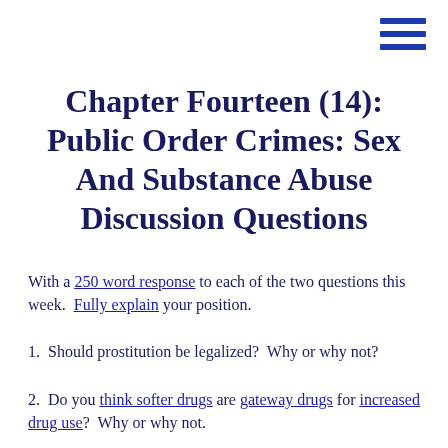Chapter Fourteen (14): Public Order Crimes: Sex And Substance Abuse Discussion Questions
With a 250 word response to each of the two questions this week.  Fully explain your position.
1.  Should prostitution be legalized?  Why or why not?
2.  Do you think softer drugs are gateway drugs for increased drug use?  Why or why not.